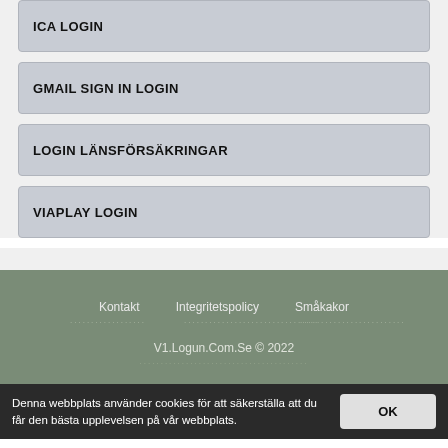ICA LOGIN
GMAIL SIGN IN LOGIN
LOGIN LÄNSFÖRSÄKRINGAR
VIAPLAY LOGIN
Kontakt   Integritetspolicy   Småkakor
V1.Logun.Com.Se © 2022
Denna webbplats använder cookies för att säkerställa att du får den bästa upplevelsen på vår webbplats.